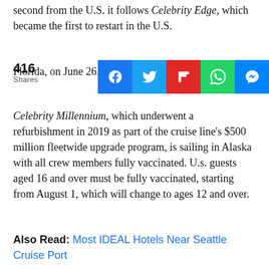second from the U.S. it follows Celebrity Edge, which became the first to restart in the U.S. Florida, on June 26.
[Figure (infographic): Social share bar showing 416 shares with buttons for Facebook, Twitter, Flipboard, WhatsApp, and Messenger]
Celebrity Millennium, which underwent a refurbishment in 2019 as part of the cruise line's $500 million fleetwide upgrade program, is sailing in Alaska with all crew members fully vaccinated. U.s. guests aged 16 and over must be fully vaccinated, starting from August 1, which will change to ages 12 and over.
Also Read: Most IDEAL Hotels Near Seattle Cruise Port